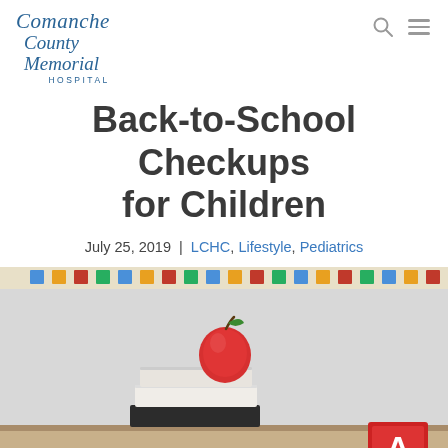Comanche County Memorial Hospital
Back-to-School Checkups for Children
July 25, 2019  |  LCHC, Lifestyle, Pediatrics
[Figure (photo): A red apple sitting on top of a stack of books on a desk, with alphabet blocks (A, B) visible in the lower right, and a classroom bulletin board with colorful letters in the background.]